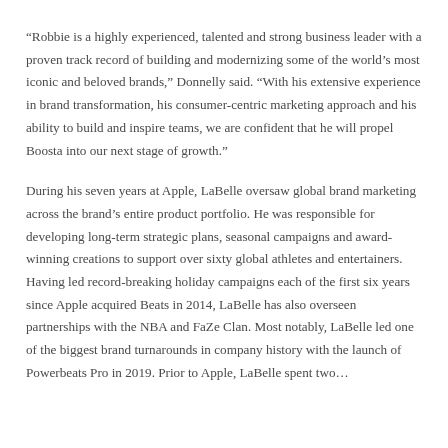“Robbie is a highly experienced, talented and strong business leader with a proven track record of building and modernizing some of the world’s most iconic and beloved brands,” Donnelly said. “With his extensive experience in brand transformation, his consumer-centric marketing approach and his ability to build and inspire teams, we are confident that he will propel Boosta into our next stage of growth.”
During his seven years at Apple, LaBelle oversaw global brand marketing across the brand’s entire product portfolio. He was responsible for developing long-term strategic plans, seasonal campaigns and award-winning creations to support over sixty global athletes and entertainers. Having led record-breaking holiday campaigns each of the first six years since Apple acquired Beats in 2014, LaBelle has also overseen partnerships with the NBA and FaZe Clan. Most notably, LaBelle led one of the biggest brand turnarounds in company history with the launch of Powerbeats Pro in 2019. Prior to Apple, LaBelle spent two…